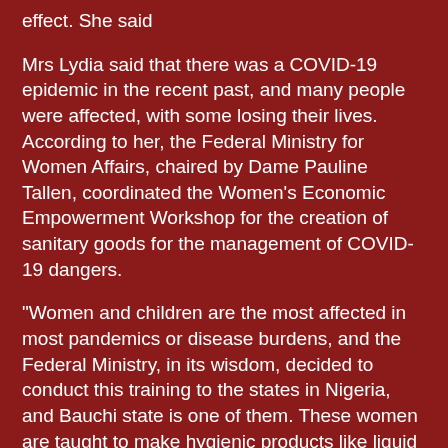effect. She said
Mrs Lydia said that there was a COVID-19 epidemic in the recent past, and many people were affected, with some losing their lives. According to her, the Federal Ministry for Women Affairs, chaired by Dame Pauline Tallen, coordinated the Women's Economic Empowerment Workshop for the creation of sanitary goods for the management of COVID-19 dangers.
"Women and children are the most affected in most pandemics or disease burdens, and the Federal Ministry, in its wisdom, decided to conduct this training to the states in Nigeria, and Bauchi state is one of them. These women are taught to make hygienic products like liquid soap, hand sanitizers, Dettol, and Izar," she explained.
The representative went on to say that the skills taught were not capital-intensive, and that trainees could start their businesses with little. However, she encouraged the trainees to put their new talents to use and pass on their expertise to other women in the state.